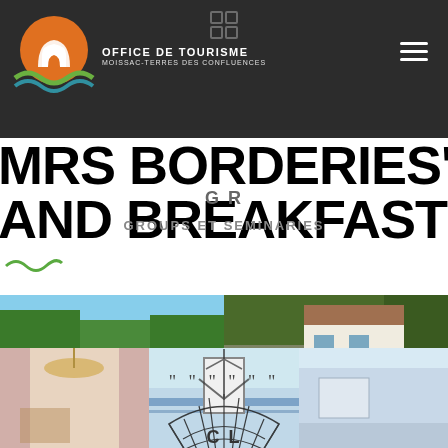[Figure (logo): Office de Tourisme Moissac-Terres des Confluences logo with circular icon and green wave]
OFFICE DE TOURISME
MOISSAC-TERRES DES CONFLUENCES
MRS BORDERIES'S BED AND BREAKFAST ☆☆☆
GROUPS ET SEMINARIES
[Figure (photo): Swimming pool with garden and lounge chairs at bed and breakfast property]
[Figure (photo): White house exterior with swimming pool and loungers in garden]
[Figure (photo): Interior room with chandelier and curtains]
[Figure (photo): Bathroom interior]
[Figure (photo): Another room or exterior view]